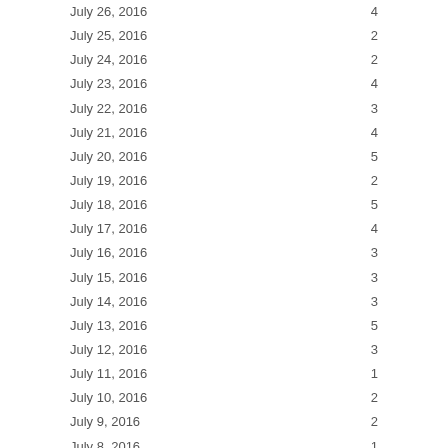| Date | Count |
| --- | --- |
| July 26, 2016 | 4 |
| July 25, 2016 | 2 |
| July 24, 2016 | 2 |
| July 23, 2016 | 4 |
| July 22, 2016 | 3 |
| July 21, 2016 | 4 |
| July 20, 2016 | 5 |
| July 19, 2016 | 2 |
| July 18, 2016 | 5 |
| July 17, 2016 | 4 |
| July 16, 2016 | 3 |
| July 15, 2016 | 3 |
| July 14, 2016 | 3 |
| July 13, 2016 | 5 |
| July 12, 2016 | 3 |
| July 11, 2016 | 1 |
| July 10, 2016 | 2 |
| July 9, 2016 | 2 |
| July 8, 2016 | 1 |
| July 7, 2016 | 3 |
| July 6, 2016 | 4 |
| July 5, 2016 | 6 |
| July 4, 2016 | 4 |